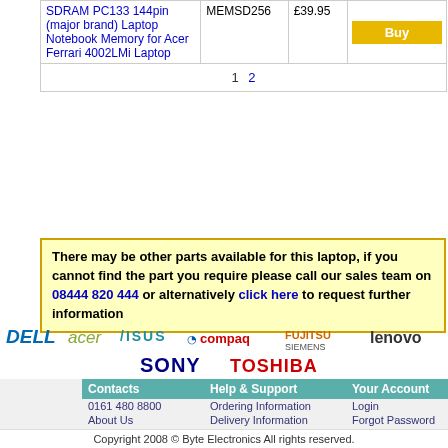| Product | SKU | Price |  |
| --- | --- | --- | --- |
| SDRAM PC133 144pin (major brand) Laptop Notebook Memory for Acer Ferrari 4002LMi Laptop | MEMSD256 | £39.95 | Buy |
| 1 2 |  |  |  |
There may be other parts available for this laptop, if you cannot find the part you require please call our sales team on 08444 820 444 or alternatively click here to request further information
[Figure (logo): Brand logos: Dell, Acer, Asus, Compaq, Fujitsu Siemens, Lenovo, Sony, Toshiba]
|  | Contacts | Help & Support | Your Account |
| --- | --- | --- | --- |
|  | 0161 480 8800 | Ordering Information | Login |
|  | About Us | Delivery Information | Forgot Password |
|  | Contact Us | Returns Information | Register Now |
|  | Customer Services | Terms & Conditions | Trade Accounts |
|  | Technical Support | Privacy Statement | Educational Accounts |
|  | Purchase Order Enquires | Frequently Asked Questions | Public Sector Accounts |
Copyright 2008 © Byte Electronics All rights reserved.